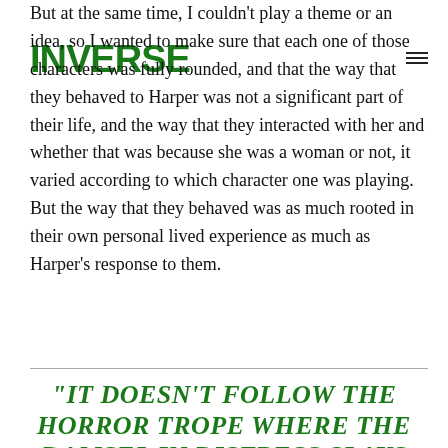INVERSE
But at the same time, I couldn't play a theme or an idea, so I wanted to make sure that each one of those characters was fully rounded, and that the way that they behaved to Harper was not a significant part of their life, and the way that they interacted with her and whether that was because she was a woman or not, it varied according to which character one was playing. But the way that they behaved was as much rooted in their own personal lived experience as much as Harper's response to them.
“IT DOESN’T FOLLOW THE HORROR TROPE WHERE THE DAMSEL IN DISTRESS SLAYS THE DRAGON.”